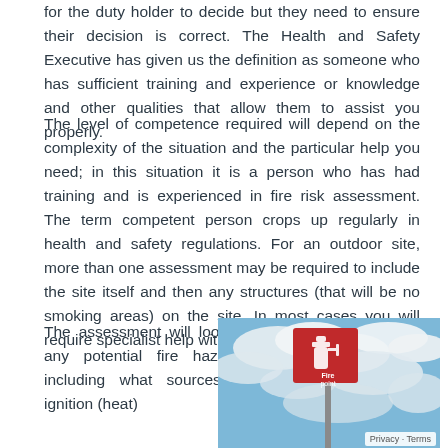for the duty holder to decide but they need to ensure their decision is correct. The Health and Safety Executive has given us the definition as someone who has sufficient training and experience or knowledge and other qualities that allow them to assist you properly.
The level of competence required will depend on the complexity of the situation and the particular help you need; in this situation it is a person who has had training and is experienced in fire risk assessment. The term competent person crops up regularly in health and safety regulations. For an outdoor site, more than one assessment may be required to include the site itself and then any structures (that will be no smoking areas) on the site. In most cases you will require specialist help with risk assessments.
The assessment will look at any potential fire hazards including what sources of ignition (heat)
[Figure (photo): A fire point sign (red sign with fire extinguisher icon reading 'Fire point') mounted on a pole against a partly cloudy blue sky background.]